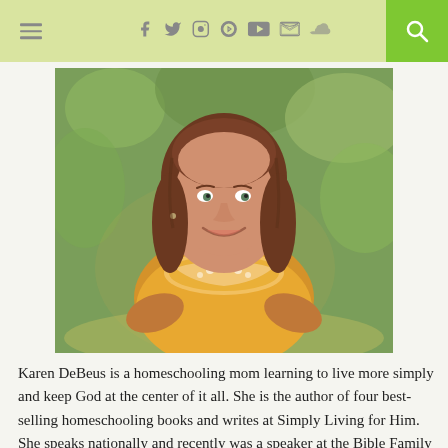≡  f  t  ig  P  ▶  ☁  🔍
[Figure (photo): Portrait photo of Karen DeBeus, a woman with shoulder-length brown hair, smiling, wearing a yellow embroidered top, with green foliage in the background.]
Karen DeBeus is a homeschooling mom learning to live more simply and keep God at the center of it all. She is the author of four best-selling homeschooling books and writes at Simply Living for Him. She speaks nationally and recently was a speaker at the Bible Family